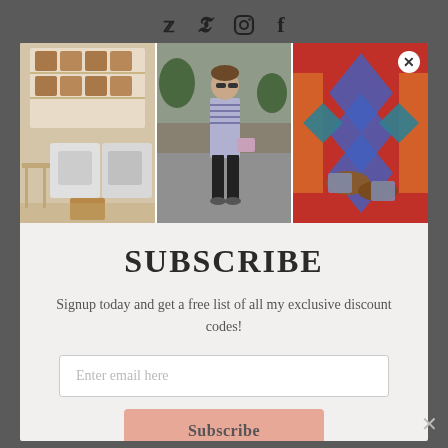[Figure (screenshot): Social media icons bar showing Twitter, Pinterest, Instagram, and Facebook icons on a dark grey background]
[Figure (photo): Modal popup with three lifestyle photos: an organized laundry room with wicker baskets, a woman in striped top and black pants walking outdoors, and colorful patterned rugs with brown boots. A white close (X) button is in the top right corner.]
SUBSCRIBE
Signup today and get a free list of all my exclusive discount codes!
Enter email here
Subscribe